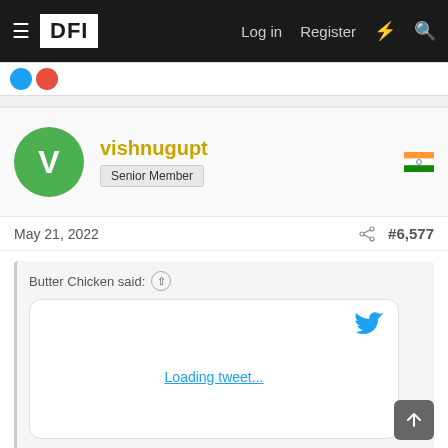DFI — Log in  Register
vishnugupt — Senior Member
May 21, 2022  #6,577
Butter Chicken said: ↑
[Figure (screenshot): Embedded tweet loading placeholder with Twitter bird icon and 'Loading tweet...' link]
Click to expand...
I think UN Generals should stop this tactic as vengeance towards subordinates.